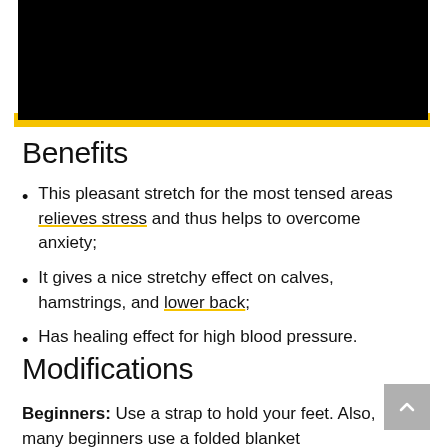[Figure (photo): Black rectangular image bar at top of page with yellow bottom strip/border]
Benefits
This pleasant stretch for the most tensed areas relieves stress and thus helps to overcome anxiety;
It gives a nice stretchy effect on calves, hamstrings, and lower back;
Has healing effect for high blood pressure.
Modifications
Beginners: Use a strap to hold your feet. Also, many beginners use a folded blanket